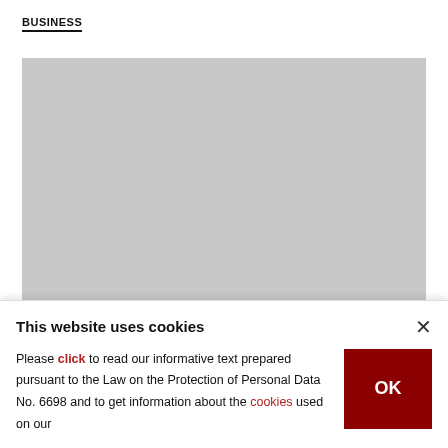BUSINESS
[Figure (photo): Gray placeholder image for a photo story about streets of Myanmar]
In photos: Streets of Myanmar after
This website uses cookies
Please click to read our informative text prepared pursuant to the Law on the Protection of Personal Data No. 6698 and to get information about the cookies used on our